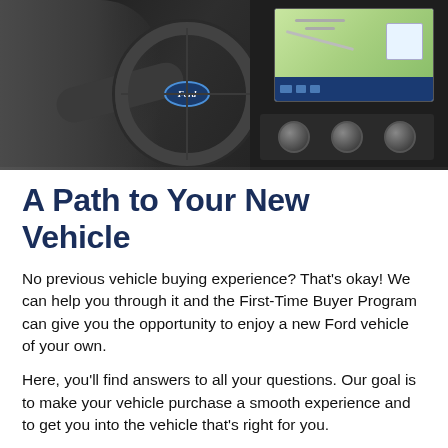[Figure (photo): A person sitting in the driver's seat of a Ford vehicle, hands on the steering wheel, with a large infotainment touchscreen visible on the dashboard showing a map.]
A Path to Your New Vehicle
No previous vehicle buying experience? That's okay! We can help you through it and the First-Time Buyer Program can give you the opportunity to enjoy a new Ford vehicle of your own.
Here, you'll find answers to all your questions. Our goal is to make your vehicle purchase a smooth experience and to get you into the vehicle that's right for you.
Remember, you can always contact us for